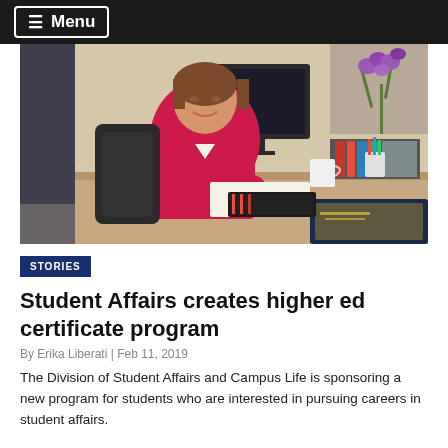≡ Menu
[Figure (photo): A woman in a red blazer sitting at an office desk, smiling, with a computer monitor, books, and a purple orchid plant visible in the background.]
STORIES
Student Affairs creates higher ed certificate program
By Erika Liberati | Feb 11, 2019
The Division of Student Affairs and Campus Life is sponsoring a new program for students who are interested in pursuing careers in student affairs.